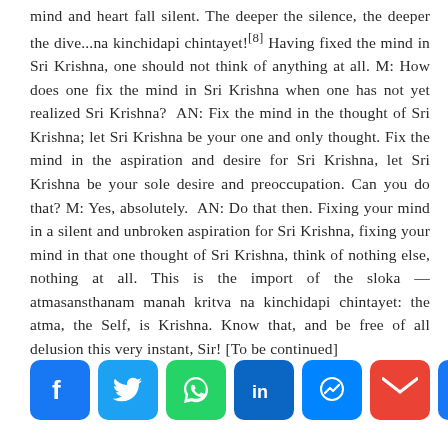mind and heart fall silent. The deeper the silence, the deeper the dive...na kinchidapi chintayet![8] Having fixed the mind in Sri Krishna, one should not think of anything at all. M: How does one fix the mind in Sri Krishna when one has not yet realized Sri Krishna?  AN: Fix the mind in the thought of Sri Krishna; let Sri Krishna be your one and only thought. Fix the mind in the aspiration and desire for Sri Krishna, let Sri Krishna be your sole desire and preoccupation. Can you do that? M: Yes, absolutely.  AN: Do that then. Fixing your mind in a silent and unbroken aspiration for Sri Krishna, fixing your mind in that one thought of Sri Krishna, think of nothing else, nothing at all. This is the import of the sloka — atmasansthanam manah kritva na kinchidapi chintayet: the atma, the Self, is Krishna. Know that, and be free of all delusion this very instant, Sir! [To be continued]
[Figure (other): Social sharing icons row: Facebook (blue), Twitter (blue), WhatsApp (green), LinkedIn (dark blue), Messenger (blue), Gmail (red), More/Plus (blue)]